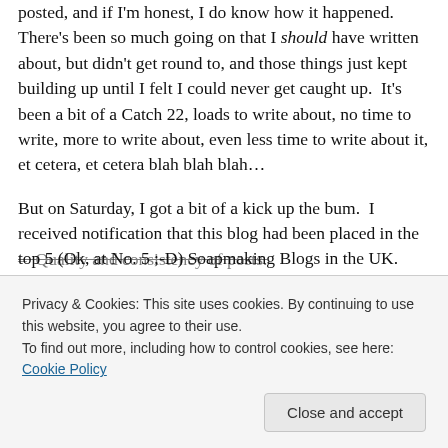posted, and if I'm honest, I do know how it happened. There's been so much going on that I should have written about, but didn't get round to, and those things just kept building up until I felt I could never get caught up.  It's been a bit of a Catch 22, loads to write about, no time to write, more to write about, even less time to write about it, et cetera, et cetera blah blah blah…

But on Saturday, I got a bit of a kick up the bum.  I received notification that this blog had been placed in the top 5 (Ok, at No. 5 ;-D) Soapmaking Blogs in the UK. You
–  Quality and consistency of posts.
Privacy & Cookies: This site uses cookies. By continuing to use this website, you agree to their use. To find out more, including how to control cookies, see here: Cookie Policy